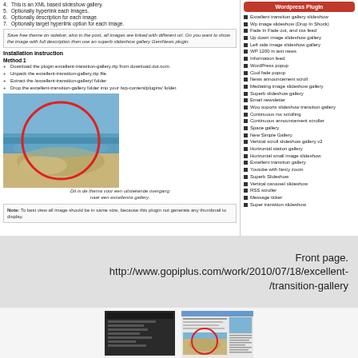4. This is an XML based slideshow gallery.
5. Optionally hyperlink each images.
6. Optionally description for each image.
7. Optionally target hyperlink option for each image.
Save free theme on sidebar; also in the post, all images are linked with different url. On you want to show the image with full description then use an superb slideshow gallery GemNews plugin.
Installation instruction
Method 1
Download the plugin excellent-transition-gallery.zip from download.dot.com.
Unpack the excellent-transition-gallery.zip file.
Extract the /excellent-transition-gallery/ folder.
Drop the excellent-transition-gallery folder into your /wp-content/plugins/ folder.
[Figure (photo): Aerial photo of coastal landscape/beach with red circle overlay]
Dit is de thema voor een uitstekende overgang
naar een excellence gallery.
Note: To best view all image should be in same size, because this plugin not generate any thumbnail to display.
Wordpress Plugin
Excellent transition gallery slideshow
Wp image slideshow (Drop In Shock)
Fade In Fade out, and css feed
Up down image slideshow gallery
Left side image slideshow gallery
WP 1200 in text news
Information feed
WordPress popup
Cool fade popup
News announcement scroll
Mediating image slideshow gallery
Superb slideshow gallery
Email newsletter
Woo suports slideshow transition gallery
Continuous rss scrolling
Continuous announcement scroller
Space gallery
New Simple Gallery
Vertical scroll slideshow gallery v2
Horizontal station gallery
Horizontal small image slideshow
Excellent transition gallery
Youtube with fancy zoom
Superb Slideshow
Vertical carousel slideshow
RSS scroller
Message ticker
Super transition slideshow
Front page.
http://www.gopiplus.com/work/2010/07/18/excellent-/transition-gallery
[Figure (screenshot): Dark screenshot of a webpage]
[Figure (screenshot): Screenshot of the excellent transition gallery webpage with coastal photo]